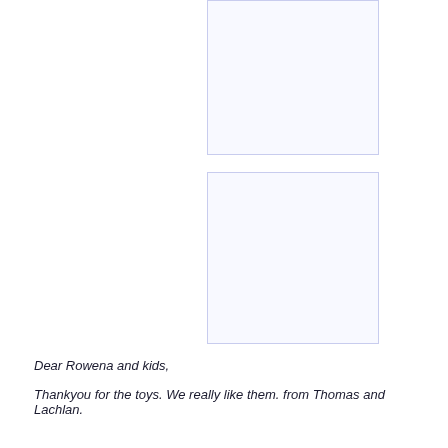[Figure (other): Empty white box with light blue/lavender border, top right area]
[Figure (other): Empty white box with light blue/lavender border, middle right area]
Dear Rowena and kids,
Thankyou for the toys. We really like them. from Thomas and Lachlan.